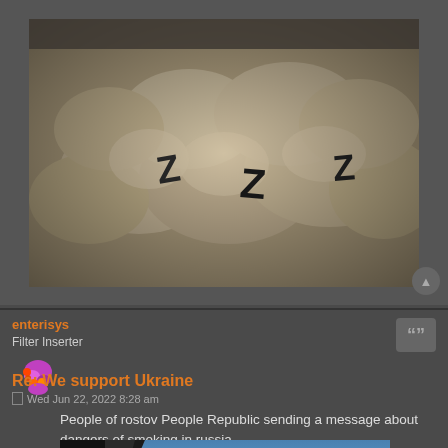[Figure (photo): Sepia-toned photograph of sheep with Z markings painted on their wool, crowded together]
enterisys
Filter Inserter
[Figure (illustration): User avatar icon showing a colorful animated character]
Re: We support Ukraine
Wed Jun 22, 2022 8:28 am
People of rostov People Republic sending a message about dangers of smoking in russia.
[Figure (photo): Photo showing blue sky with dark structure in upper left corner, possibly a destroyed building or missile contrail]